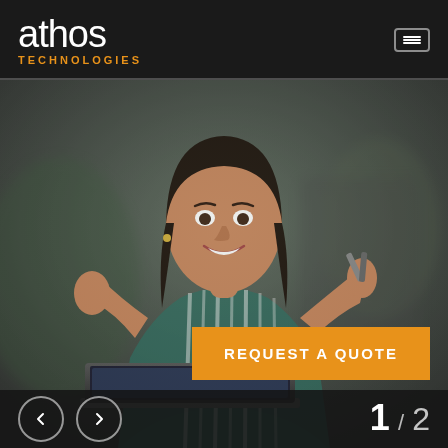athos TECHNOLOGIES
[Figure (photo): Smiling woman in green and white striped blouse holding a pen, gesturing with hands, laptop in foreground, office background]
REQUEST A QUOTE
< > 1 / 2